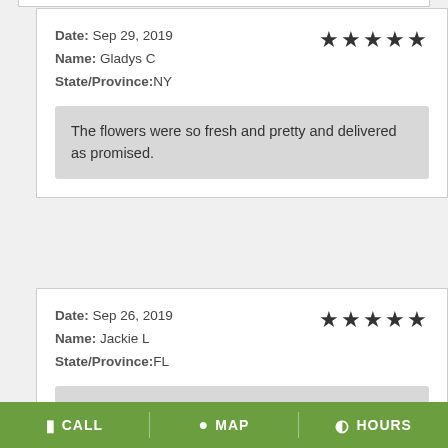Date: Sep 29, 2019
Name: Gladys C
State/Province: NY
Rating: 5 stars
The flowers were so fresh and pretty and delivered as promised.
Date: Sep 26, 2019
Name: Jackie L
State/Province: FL
Rating: 5 stars
Ordering is so easy; my mother said the flowers were beautiful. Nice to be able to
CALL  MAP  HOURS